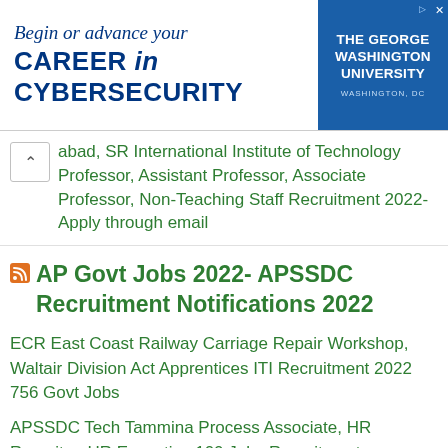[Figure (illustration): Advertisement banner for The George Washington University cybersecurity program. Text reads 'Begin or advance your CAREER in CYBERSECURITY' with university logo on right side.]
abad, SR International Institute of Technology Professor, Assistant Professor, Associate Professor, Non-Teaching Staff Recruitment 2022-Apply through email
AP Govt Jobs 2022- APSSDC Recruitment Notifications 2022
ECR East Coast Railway Carriage Repair Workshop, Waltair Division Act Apprentices ITI Recruitment 2022 756 Govt Jobs
APSSDC Tech Tammina Process Associate, HR Recruiter, HR Executive 100 Jobs Recruitment Registration Form-AP Private Jobs